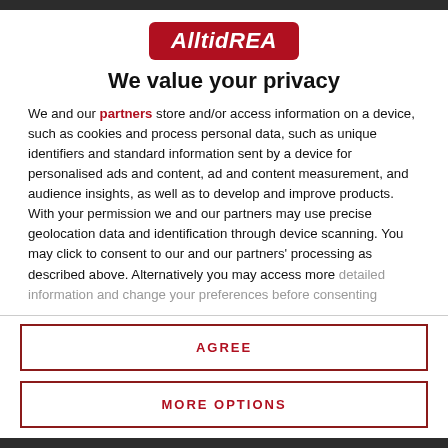[Figure (logo): AlltidREA logo — red badge with white bold italic text]
We value your privacy
We and our partners store and/or access information on a device, such as cookies and process personal data, such as unique identifiers and standard information sent by a device for personalised ads and content, ad and content measurement, and audience insights, as well as to develop and improve products. With your permission we and our partners may use precise geolocation data and identification through device scanning. You may click to consent to our and our partners' processing as described above. Alternatively you may access more detailed information and change your preferences before consenting
AGREE
MORE OPTIONS